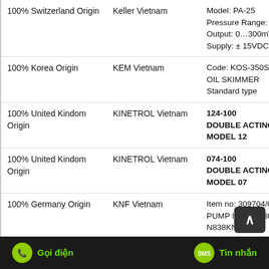| Origin | Agent | Specification |
| --- | --- | --- |
| 100% Switzerland Origin | Keller Vietnam | Model: PA-25
Pressure Range: 0...3
Output: 0...300mV
Supply: ± 15VDC |
| 100% Korea Origin | KEM Vietnam | Code: KOS-350S
OIL SKIMMER
Standard type |
| 100% United Kindom Origin | KINETROL Vietnam | 124-100
DOUBLE ACTING AC
MODEL 12 |
| 100% United Kindom Origin | KINETROL Vietnam | 074-100
DOUBLE ACTING AC
MODEL 07 |
| 100% Germany Origin | KNF Vietnam | Item no: 309704/0546
PUMP IP00-T 230V50
N838KNE |
Gọi điện    Tin nhắn